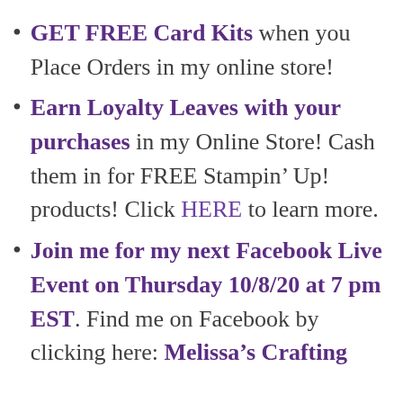GET FREE Card Kits when you Place Orders in my online store!
Earn Loyalty Leaves with your purchases in my Online Store! Cash them in for FREE Stampin’ Up! products! Click HERE to learn more.
Join me for my next Facebook Live Event on Thursday 10/8/20 at 7 pm EST. Find me on Facebook by clicking here: Melissa’s Crafting